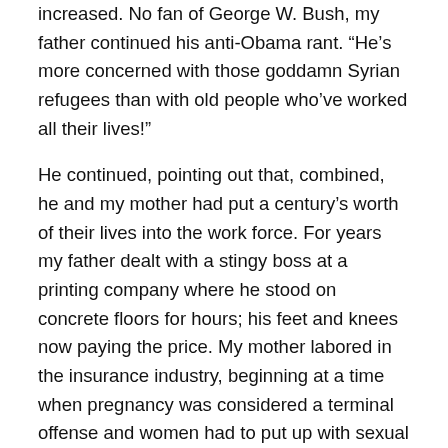increased. No fan of George W. Bush, my father continued his anti-Obama rant. “He’s more concerned with those goddamn Syrian refugees than with old people who’ve worked all their lives!”
He continued, pointing out that, combined, he and my mother had put a century’s worth of their lives into the work force. For years my father dealt with a stingy boss at a printing company where he stood on concrete floors for hours; his feet and knees now paying the price. My mother labored in the insurance industry, beginning at a time when pregnancy was considered a terminal offense and women had to put up with sexual harassment the same way they put up with a runny nose.
I reassured my father that, no matter what, I’ll be there for him and my mother. It’s become especially critical as their health falters—something to be expected in the ninth